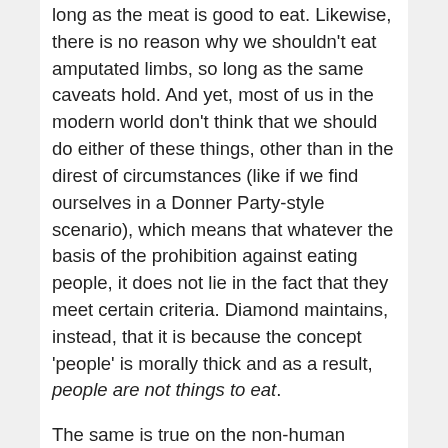long as the meat is good to eat.  Likewise, there is no reason why we shouldn't eat amputated limbs, so long as the same caveats hold.  And yet, most of us in the modern world don't think that we should do either of these things, other than in the direst of circumstances (like if we find ourselves in a Donner Party-style scenario), which means that whatever the basis of the prohibition against eating people, it does not lie in the fact that they meet certain criteria.  Diamond maintains, instead, that it is because the concept 'people' is morally thick and as a result, people are not things to eat.
The same is true on the non-human animal side of things.  If the reason why we shouldn't eat beef or chicken is because  animals like these are capable of suffering, then there is no reason why a vegan shouldn't eat an animal that has died of natural